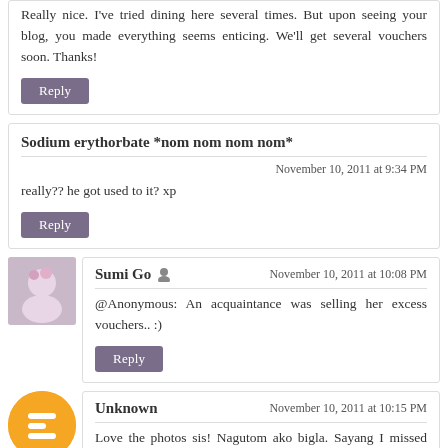Really nice. I've tried dining here several times. But upon seeing your blog, you made everything seems enticing. We'll get several vouchers soon. Thanks!
Reply
Sodium erythorbate *nom nom nom nom*
November 10, 2011 at 9:34 PM
really?? he got used to it? xp
Reply
Sumi Go
November 10, 2011 at 10:08 PM
@Anonymous: An acquaintance was selling her excess vouchers.. :)
Reply
Unknown
November 10, 2011 at 10:15 PM
Love the photos sis! Nagutom ako bigla. Sayang I missed purchasing the vouchers for this. =(